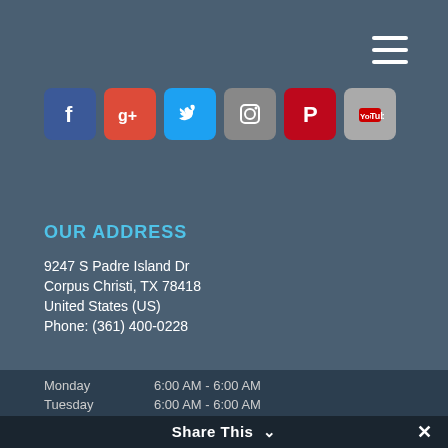[Figure (other): Hamburger menu icon (three horizontal white lines) in top-right corner]
[Figure (other): Row of six social media icon buttons: Facebook (blue), Google+ (red), Twitter (blue), Instagram (grey/brown), Pinterest (red), YouTube (grey)]
OUR ADDRESS
9247 S Padre Island Dr
Corpus Christi, TX 78418
United States (US)
Phone: (361) 400-0228
HOURS OF OPERATION
Monday    6:00 AM - 6:00 AM
Tuesday   6:00 AM - 6:00 AM
Share This  ×